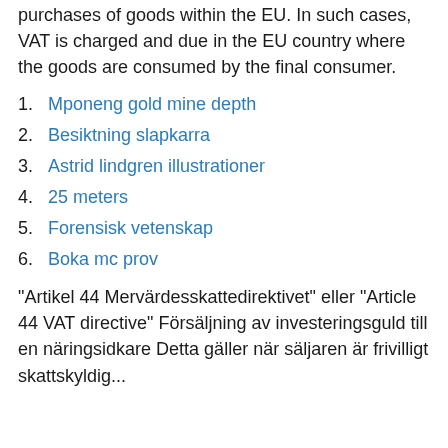purchases of goods within the EU. In such cases, VAT is charged and due in the EU country where the goods are consumed by the final consumer.
Mponeng gold mine depth
Besiktning slapkarra
Astrid lindgren illustrationer
25 meters
Forensisk vetenskap
Boka mc prov
"Artikel 44 Mervärdesskattedirektivet" eller "Article 44 VAT directive" Försäljning av investeringsguld till en näringsidkare Detta gäller när säljaren är frivilligt skattskyldig...